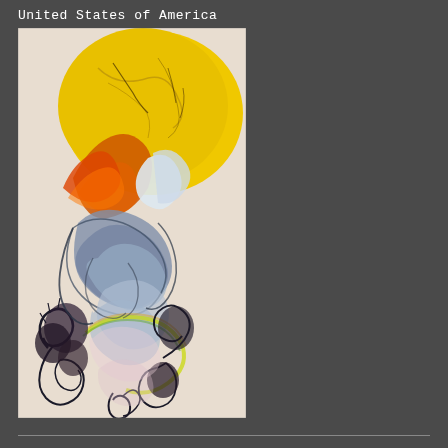United States of America
[Figure (illustration): An abstract painting/artwork featuring swirling organic forms with a large yellow/golden circle at the top representing the sun, orange and red flame-like shapes, flowing blue and grey smoke or water-like forms in the middle, and dark spiraling botanical or creature forms at the bottom, on a light beige/cream background.]